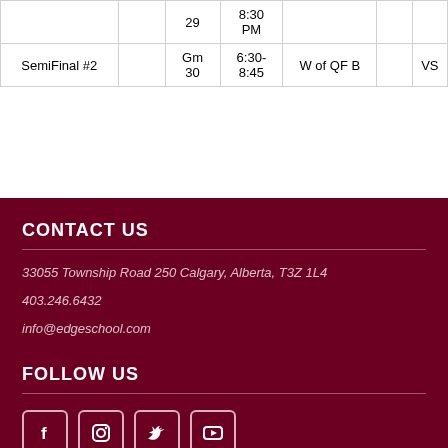|  |  | Gm | Time | Team |  | VS |
| --- | --- | --- | --- | --- | --- | --- |
|  |  | 29 | 8:30 PM |  |  |  |
| SemiFinal #2 |  | Gm 30 | 6:30-8:45 | W of QF B |  | VS |
CONTACT US
33055 Township Road 250 Calgary, Alberta, T3Z 1L4
403.246.6432
info@edgeschool.com
FOLLOW US
[Figure (infographic): Four social media icon buttons: Facebook, Instagram, Twitter, YouTube]